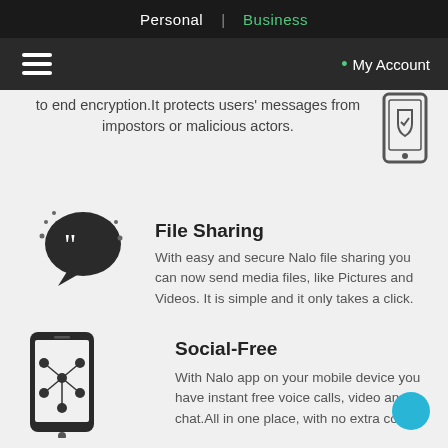Personal | Business
≡  • My Account
to end encryption.It protects users' messages from impostors or malicious actors.
File Sharing
With easy and secure Nalo file sharing you can now send media files, like Pictures and Videos. It is simple and it only takes a click.
Social-Free
With Nalo app on your mobile device you have instant free voice calls, video and chat.All in one place, with no extra cost.